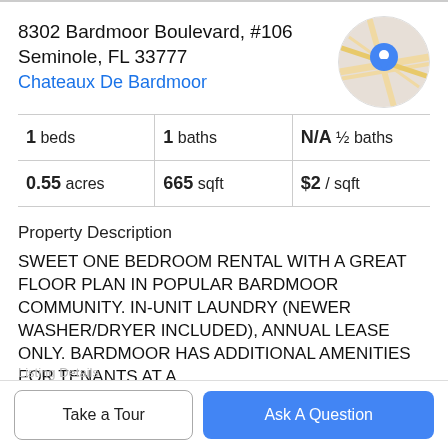8302 Bardmoor Boulevard, #106
Seminole, FL 33777
Chateaux De Bardmoor
[Figure (map): Circular map thumbnail showing street map with blue location pin marker]
| 1 beds | 1 baths | N/A ½ baths |
| 0.55 acres | 665 sqft | $2 / sqft |
Property Description
SWEET ONE BEDROOM RENTAL WITH A GREAT FLOOR PLAN IN POPULAR BARDMOOR COMMUNITY. IN-UNIT LAUNDRY (NEWER WASHER/DRYER INCLUDED), ANNUAL LEASE ONLY. BARDMOOR HAS ADDITIONAL AMENITIES FOR TENANTS AT A
Take a Tour   Ask A Question